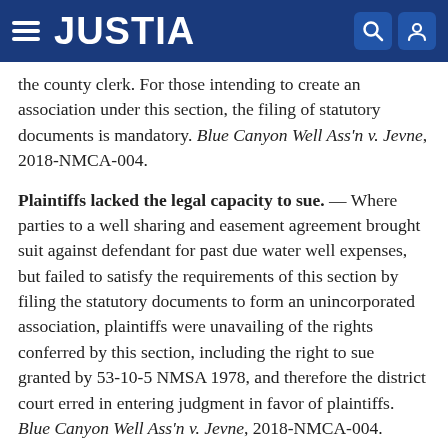JUSTIA
the county clerk. For those intending to create an association under this section, the filing of statutory documents is mandatory. Blue Canyon Well Ass'n v. Jevne, 2018-NMCA-004.
Plaintiffs lacked the legal capacity to sue. — Where parties to a well sharing and easement agreement brought suit against defendant for past due water well expenses, but failed to satisfy the requirements of this section by filing the statutory documents to form an unincorporated association, plaintiffs were unavailing of the rights conferred by this section, including the right to sue granted by 53-10-5 NMSA 1978, and therefore the district court erred in entering judgment in favor of plaintiffs. Blue Canyon Well Ass'n v. Jevne, 2018-NMCA-004.
Am. Jur. 2d, A.L.R. and C.J.S. references. — 6 Am. Jur. 2d Associations and Clubs § 7.